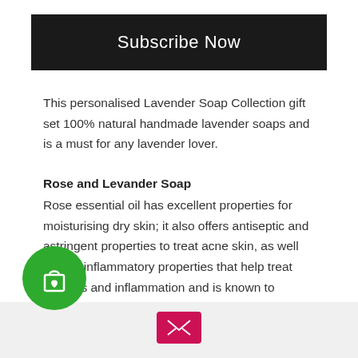Subscribe Now
This personalised Lavender Soap Collection gift set 100% natural handmade lavender soaps and is a must for any lavender lover.
Rose and Levander Soap
Rose essential oil has excellent properties for moisturising dry skin; it also offers antiseptic and astringent properties to treat acne skin, as well as anti-inflammatory properties that help treat redness and inflammation and is known to reduce signs of
[Figure (illustration): Green circle button with shopping bag and heart icon]
[Figure (illustration): Pink/red envelope icon button at bottom center]